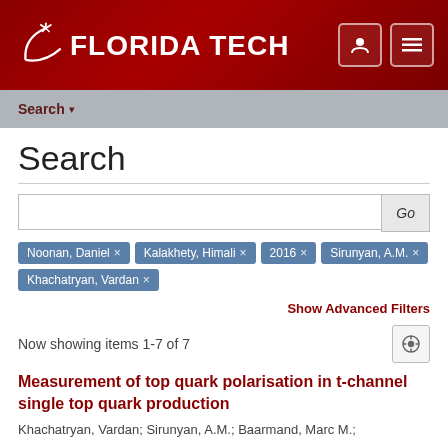[Figure (logo): Florida Tech university logo on dark red header with star graphic and navigation icons]
Search ▾
Search
Noonan, Daniel × | Kalakhety, Himali × | 2016 × | Sirunyan, A.M. × | Khachatryan, Vardan ×
Show Advanced Filters
Now showing items 1-7 of 7
Measurement of top quark polarisation in t-channel single top quark production
Khachatryan, Vardan; Sirunyan, A.M.; Baarmand, Marc M.;